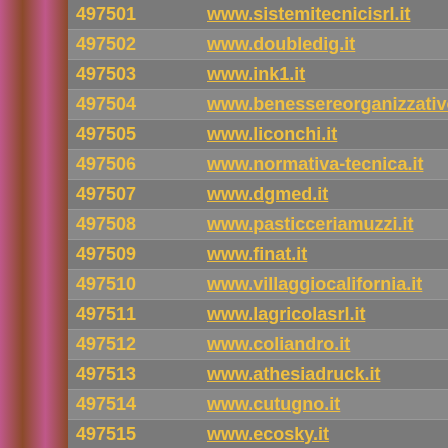| ID | URL |
| --- | --- |
| 497501 | www.sistemitecnicisrl.it |
| 497502 | www.doubledig.it |
| 497503 | www.ink1.it |
| 497504 | www.benessereorganizzativo.it |
| 497505 | www.liconchi.it |
| 497506 | www.normativa-tecnica.it |
| 497507 | www.dgmed.it |
| 497508 | www.pasticceriamuzzi.it |
| 497509 | www.finat.it |
| 497510 | www.villaggiocalifornia.it |
| 497511 | www.lagricolasrl.it |
| 497512 | www.coliandro.it |
| 497513 | www.athesiadruck.it |
| 497514 | www.cutugno.it |
| 497515 | www.ecosky.it |
| 497516 | www.acupuncture.it |